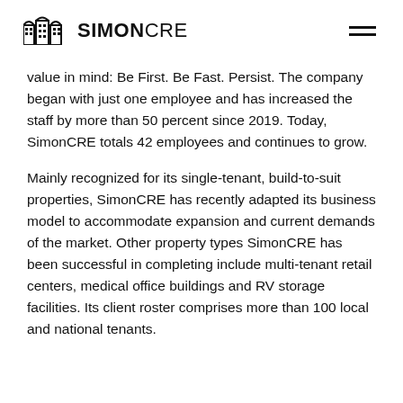SIMONCRE
value in mind: Be First. Be Fast. Persist. The company began with just one employee and has increased the staff by more than 50 percent since 2019. Today, SimonCRE totals 42 employees and continues to grow.
Mainly recognized for its single-tenant, build-to-suit properties, SimonCRE has recently adapted its business model to accommodate expansion and current demands of the market. Other property types SimonCRE has been successful in completing include multi-tenant retail centers, medical office buildings and RV storage facilities. Its client roster comprises more than 100 local and national tenants.